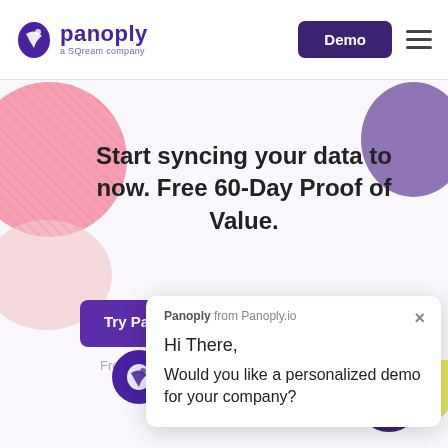[Figure (logo): Panoply logo with purple bird icon, 'panoply' in purple bold text, 'a SQream company' subtitle]
Demo
Start syncing your data to now. Free 60-Day Proof of Value.
Try Panoply Free
Request Demo
Free 60-Day Pro
Panoply from Panoply.io
Hi There,
Would you like a personalized demo for your company?